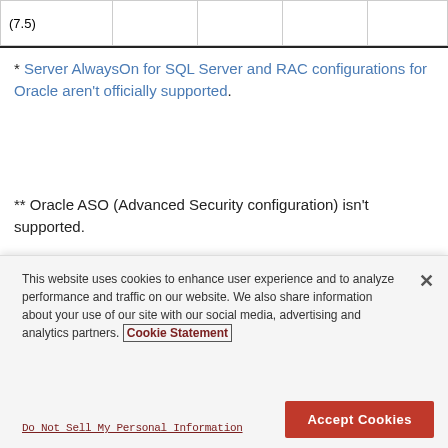| (7.5) |  |  |  |  |
* Server AlwaysOn for SQL Server and RAC configurations for Oracle aren't officially supported.
** Oracle ASO (Advanced Security configuration) isn't supported.
*** Blackboard only supports the installation at the Learn-to-database JDBC layer, not at the database layer. Issues encountered up to the JDBC layer are
This website uses cookies to enhance user experience and to analyze performance and traffic on our website. We also share information about your use of our site with our social media, advertising and analytics partners. Cookie Statement
Do Not Sell My Personal Information
Accept Cookies